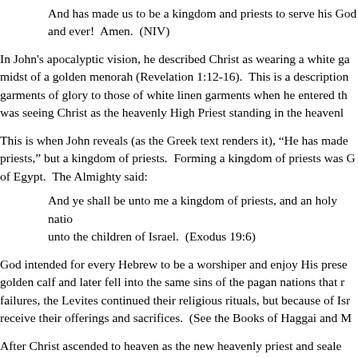And has made us to be a kingdom and priests to serve his God and ever!  Amen.  (NIV)
In John's apocalyptic vision, he described Christ as wearing a white ga midst of a golden menorah (Revelation 1:12-16).  This is a description garments of glory to those of white linen garments when he entered th was seeing Christ as the heavenly High Priest standing in the heavenl
This is when John reveals (as the Greek text renders it), "He has mad priests," but a kingdom of priests.  Forming a kingdom of priests was of Egypt.  The Almighty said:
And ye shall be unto me a kingdom of priests, and an holy nation unto the children of Israel.  (Exodus 19:6)
God intended for every Hebrew to be a worshiper and enjoy His preser golden calf and later fell into the same sins of the pagan nations that r failures, the Levites continued their religious rituals, but because of Isr receive their offerings and sacrifices.  (See the Books of Haggai and M
After Christ ascended to heaven as the new heavenly priest and seale blood, He also initiated an earthly priesthood, or a new kingdom of pri the church is the kingdom of priests that is overseen by the High Pries what Peter meant when he wrote:
But ye are a chosen generation, a royal priesthood, an holy nation